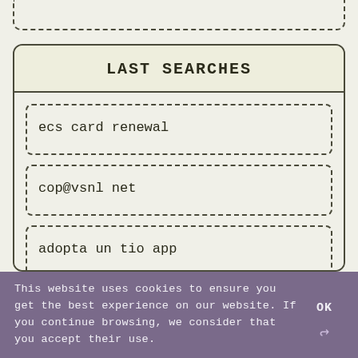LAST SEARCHES
ecs card renewal
cop@vsnl net
adopta un tio app
This website uses cookies to ensure you get the best experience on our website. If you continue browsing, we consider that you accept their use.
OK